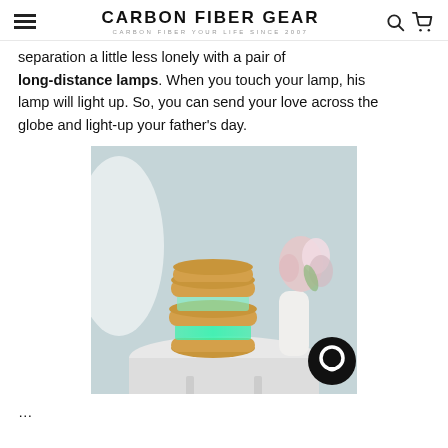CARBON FIBER GEAR — CARBON FIBER YOUR LIFE SINCE 2007
separation a little less lonely with a pair of long-distance lamps. When you touch your lamp, his lamp will light up. So, you can send your love across the globe and light-up your father's day.
[Figure (photo): A wooden and acrylic long-distance lamp with green LED light sitting on a marble side table, with flowers in a vase in the background.]
(partial line cut off at bottom)